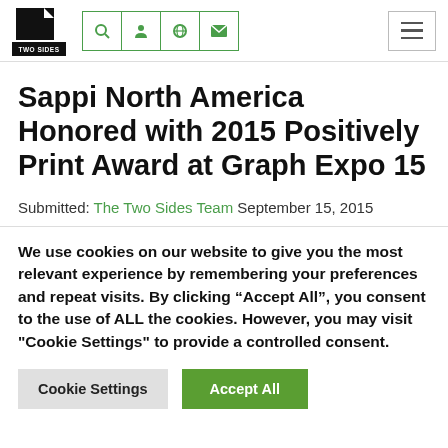[Figure (logo): Two Sides logo: black document icon with 'TWO SIDES' text below]
Sappi North America Honored with 2015 Positively Print Award at Graph Expo 15
Submitted: The Two Sides Team September 15, 2015
We use cookies on our website to give you the most relevant experience by remembering your preferences and repeat visits. By clicking "Accept All", you consent to the use of ALL the cookies. However, you may visit "Cookie Settings" to provide a controlled consent.